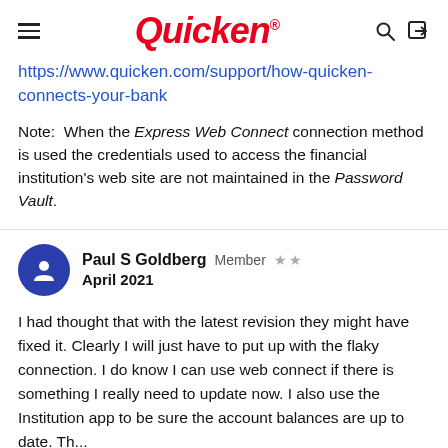Quicken
https://www.quicken.com/support/how-quicken-connects-your-bank
Note:  When the Express Web Connect connection method is used the credentials used to access the financial institution's web site are not maintained in the Password Vault.
Paul S Goldberg  Member  ★★
April 2021
I had thought that with the latest revision they might have fixed it. Clearly I will just have to put up with the flaky connection. I do know I can use web connect if there is something I really need to update now. I also use the Institution app to be sure the account balances are up to date. Thank...